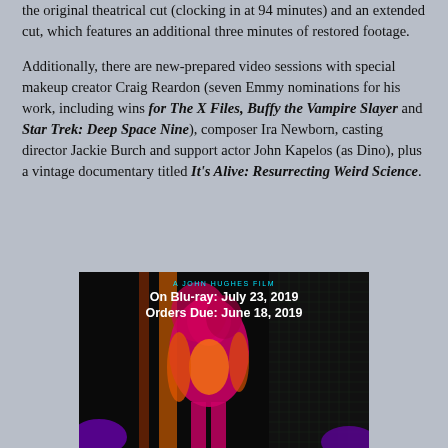the original theatrical cut (clocking in at 94 minutes) and an extended cut, which features an additional three minutes of restored footage.
Additionally, there are new-prepared video sessions with special makeup creator Craig Reardon (seven Emmy nominations for his work, including wins for The X Files, Buffy the Vampire Slayer and Star Trek: Deep Space Nine), composer Ira Newborn, casting director Jackie Burch and support actor John Kapelos (as Dino), plus a vintage documentary titled It's Alive: Resurrecting Weird Science.
[Figure (photo): Movie poster for a John Hughes film on Blu-ray. Black background with a stylized neon-colored figure of a woman. Text reads: A JOHN HUGHES FILM, On Blu-ray: July 23, 2019, Orders Due: June 18, 2019. Pop-art style in pink, orange and purple.]